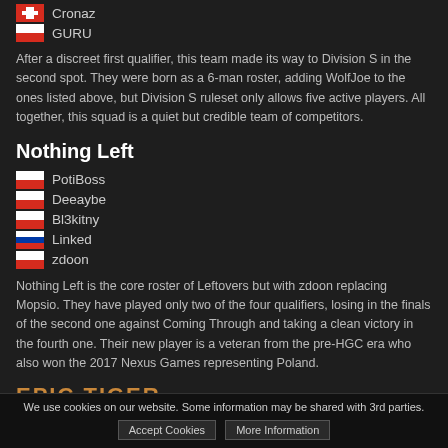🇨🇭 Cronaz
🇵🇱 GURU
After a discreet first qualifier, this team made its way to Division S in the second spot. They were born as a 6-man roster, adding WolfJoe to the ones listed above, but Division S ruleset only allows five active players. All together, this squad is a quiet but credible team of competitors.
Nothing Left
🇵🇱 PotiBoss
🇵🇱 Deeaybe
🇵🇱 Bl3kitny
🇷🇺 Linked
🇵🇱 zdoon
Nothing Left is the core roster of Leftovers but with zdoon replacing Mopsio. They have played only two of the four qualifiers, losing in the finals of the second one against Coming Through and taking a clean victory in the fourth one. Their new player is a veteran from the pre-HGC era who also won the 2017 Nexus Games representing Poland.
EPIC TIGER
We use cookies on our website. Some information may be shared with 3rd parties.